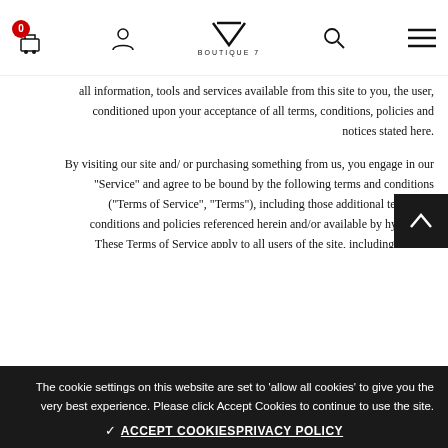Boutique 7 - Navigation header with cart, user, logo, search, and menu icons
all information, tools and services available from this site to you, the user, conditioned upon your acceptance of all terms, conditions, policies and notices stated here.
By visiting our site and/ or purchasing something from us, you engage in our "Service" and agree to be bound by the following terms and conditions ("Terms of Service", "Terms"), including those additional terms and conditions and policies referenced herein and/or available by hyperlink. These Terms of Service apply to all users of the site, including without limitation users who are browsers, vendors, customers, merchants, and/ or contributors of content.
Please read these Terms of Service carefully before accessing or using our Website. By accessing or using any part of the site, you agree to be bound by these Terms of Service. If you do not agree to all the terms and conditions of this agreement, then you may not access the website or use any services. If these Terms of Service are considered an offer, acceptance is expressly
The cookie settings on this website are set to 'allow all cookies' to give you the very best experience. Please click Accept Cookies to continue to use the site.
ACCEPT COOKIES  PRIVACY POLICY